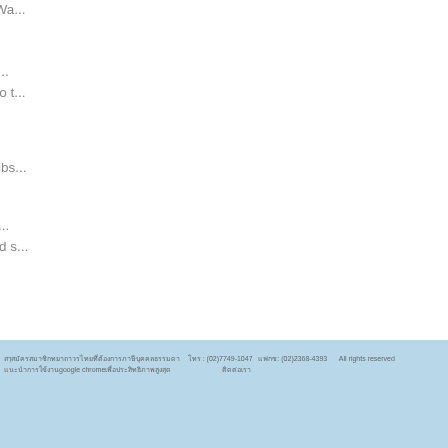various applications, said professor Wa...
Besides, the 'edge AI chip' can tra... identification and sending the result to t...
This is where SDK comes in for subs...
The team said it believes that with... saving costs, time and manpower and s... AI products.
โทร : (02)7749-1047   แฟกซ์: (02)2368-4393   All rights reserved   แนะนำการใช้งาน google chrome เพื่อประสิทธิภาพสูงสุด   ติดต่อเรา